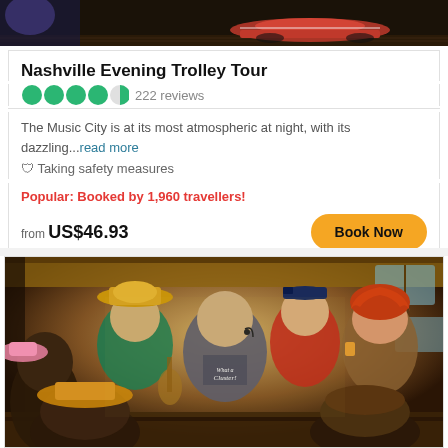[Figure (photo): Top portion of a Nashville trolley or vintage car on a dark wooden floor background]
Nashville Evening Trolley Tour
222 reviews (4.5 stars)
The Music City is at its most atmospheric at night, with its dazzling...read more
🎭 Taking safety measures
Popular: Booked by 1,960 travellers!
from US$46.93
[Figure (photo): Interior of Nashville trolley bus with people singing, wearing cowboy hats and costumes, performer in center wearing 'What a Cluster!' shirt]